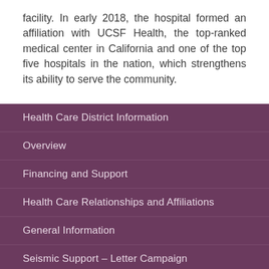facility. In early 2018, the hospital formed an affiliation with UCSF Health, the top-ranked medical center in California and one of the top five hospitals in the nation, which strengthens its ability to serve the community.
Health Care District Information
Overview
Financing and Support
Health Care Relationships and Affiliations
General Information
Seismic Support – Letter Campaign